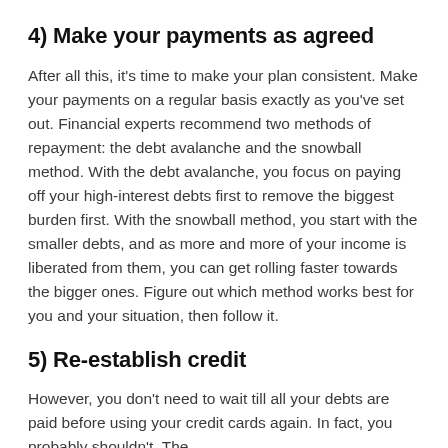4) Make your payments as agreed
After all this, it’s time to make your plan consistent. Make your payments on a regular basis exactly as you’ve set out. Financial experts recommend two methods of repayment: the debt avalanche and the snowball method. With the debt avalanche, you focus on paying off your high-interest debts first to remove the biggest burden first. With the snowball method, you start with the smaller debts, and as more and more of your income is liberated from them, you can get rolling faster towards the bigger ones. Figure out which method works best for you and your situation, then follow it.
5) Re-establish credit
However, you don’t need to wait till all your debts are paid before using your credit cards again. In fact, you probably shouldn’t. The